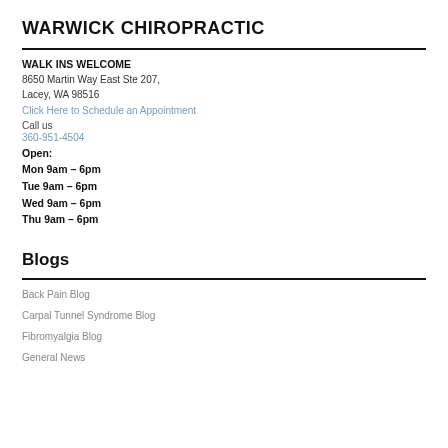WARWICK CHIROPRACTIC
WALK INS WELCOME
8650 Martin Way East Ste 207,
Lacey, WA 98516
Click Here to Schedule an Appointment
Call us
360-951-4504
Open:
Mon 9am – 6pm
Tue 9am – 6pm
Wed 9am – 6pm
Thu 9am – 6pm
Blogs
Back Pain Blog
Carpal Tunnel Syndrome Blog
Fibromyalgia Blog
General News